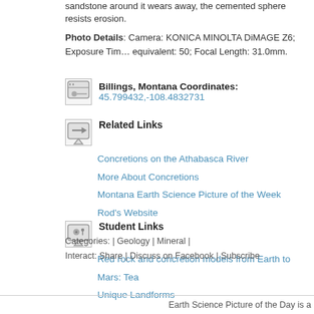sandstone around it wears away, the cemented sphere resists erosion.
Photo Details: Camera: KONICA MINOLTA DiMAGE Z6; Exposure Time equivalent: 50; Focal Length: 31.0mm.
Billings, Montana Coordinates: 45.799432,-108.4832731
Related Links
Concretions on the Athabasca River
More About Concretions
Montana Earth Science Picture of the Week
Rod's Website
Student Links
Red rock and concretion models from Earth to Mars: Tea
Unique Landforms
Categories: | Geology | Mineral |
Interact: Share | Discuss on Facebook | Subscribe
Earth Science Picture of the Day is a